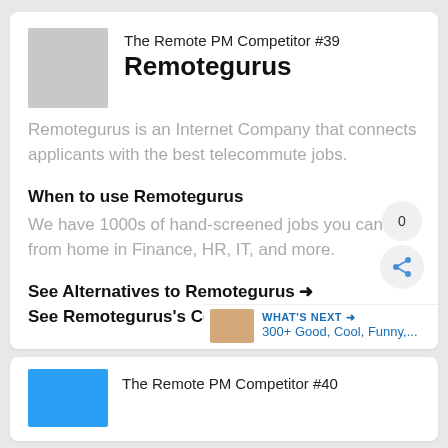The Remote PM Competitor #39
Remotegurus
Remotegurus is an Internet Company that connects applicants with the best telecommute jobs.
When to use Remotegurus
We have 1000s of hand-screened jobs you can do from home in Finance, HR, IT, and more.
See Alternatives to Remotegurus →
See Remotegurus's Competitors →
WHAT'S NEXT → 300+ Good, Cool, Funny,...
The Remote PM Competitor #40